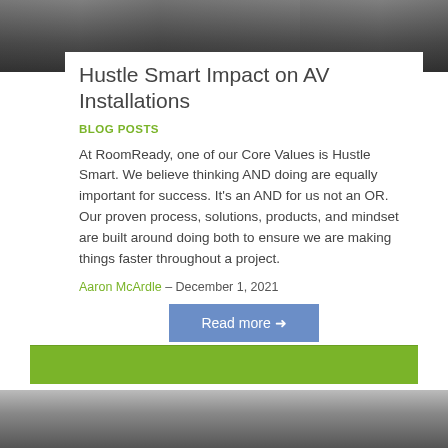[Figure (photo): Top photo showing AV installation equipment on a workbench, dark industrial setting]
Hustle Smart Impact on AV Installations
BLOG POSTS
At RoomReady, one of our Core Values is Hustle Smart. We believe thinking AND doing are equally important for success. It's an AND for us not an OR. Our proven process, solutions, products, and mindset are built around doing both to ensure we are making things faster throughout a project.
Aaron McArdle – December 1, 2021
Read more →
[Figure (photo): Bottom photo showing two technicians in dark blue shirts working in an AV installation workshop with monitors and equipment]